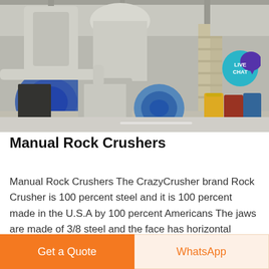[Figure (photo): Industrial rock crushing facility interior showing large machinery, pipes, conveyor equipment, blue motor unit, storage drums in yellow, red and blue colors, metal staircases, and dusty industrial environment with high ceiling.]
Manual Rock Crushers
Manual Rock Crushers The CrazyCrusher brand Rock Crusher is 100 percent steel and it is 100 percent made in the U.S.A by 100 percent Americans The jaws are made of 3/8 steel and the face has horizontal welds across them that not only help grip
Get a Quote
WhatsApp